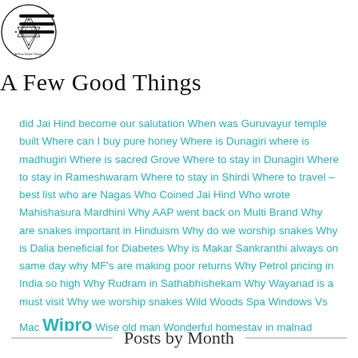A Few Good Things
did Jai Hind become our salutation When was Guruvayur temple built Where can I buy pure honey Where is Dunagiri where is madhugiri Where is sacred Grove Where to stay in Dunagiri Where to stay in Rameshwaram Where to stay in Shirdi Where to travel – best list who are Nagas Who Coined Jai Hind Who wrote Mahishasura Mardhini Why AAP went back on Multi Brand Why are snakes important in Hinduism Why do we worship snakes Why is Dalia beneficial for Diabetes Why is Makar Sankranthi always on same day why MF's are making poor returns Why Petrol pricing in India so high Why Rudram in Sathabhishekam Why Wayanad is a must visit Why we worship snakes Wild Woods Spa Windows Vs Mac Wipro Wise old man Wonderful homestay in malnad World 50 years back Yeshwantpur Express Yoga Yoga also for the Godless Yoga for acid reflux Yoga House Yoga Resort in Bangalore Yoga Retreat Bangalore Yogasutras explained Young Entrepreneurs Zela Zela Gym Zela Life Zumba
Posts by Month